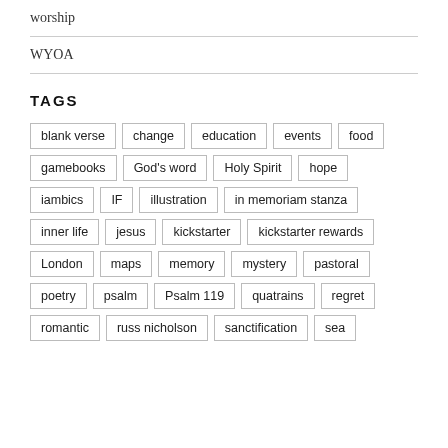worship
WYOA
TAGS
blank verse
change
education
events
food
gamebooks
God's word
Holy Spirit
hope
iambics
IF
illustration
in memoriam stanza
inner life
jesus
kickstarter
kickstarter rewards
London
maps
memory
mystery
pastoral
poetry
psalm
Psalm 119
quatrains
regret
romantic
russ nicholson
sanctification
sea